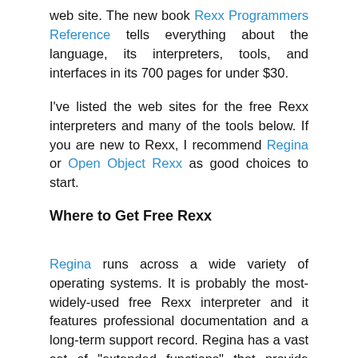web site. The new book Rexx Programmers Reference tells everything about the language, its interpreters, tools, and interfaces in its 700 pages for under $30.
I've listed the web sites for the free Rexx interpreters and many of the tools below. If you are new to Rexx, I recommend Regina or Open Object Rexx as good choices to start.
Where to Get Free Rexx
Regina runs across a wide variety of operating systems. It is probably the most-widely-used free Rexx interpreter and it features professional documentation and a long-term support record. Regina has a vast set of "extended functions" that provide extra features beyond the Rexx standard.
Reginald is a standard Rexx specifically enhanced and extended for Windows. It includes hooks into Windows and provides the kind of support for Windows features that developers expect.